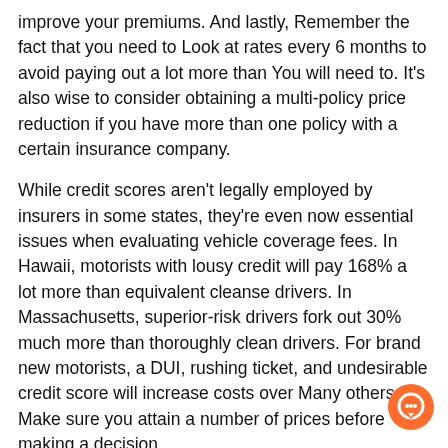improve your premiums. And lastly, Remember the fact that you need to Look at rates every 6 months to avoid paying out a lot more than You will need to. It's also wise to consider obtaining a multi-policy price reduction if you have more than one policy with a certain insurance company.
While credit scores aren't legally employed by insurers in some states, they're even now essential issues when evaluating vehicle coverage fees. In Hawaii, motorists with lousy credit will pay 168% a lot more than equivalent cleanse drivers. In Massachusetts, superior-risk drivers fork out 30% much more than thoroughly clean drivers. For brand new motorists, a DUI, rushing ticket, and undesirable credit score will increase costs over Many others. Make sure you attain a number of prices before making a decision.
Vehicle Insurance policy Around Me – Variables That Have an impact on the price of Auto Insurance